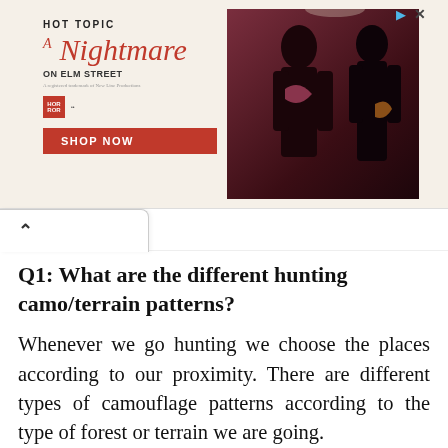[Figure (illustration): Hot Topic advertisement banner for 'A Nightmare on Elm Street' merchandise featuring two people in dark clothing against a red curtain background, with 'SHOP NOW' button]
Q1: What are the different hunting camo/terrain patterns?
Whenever we go hunting we choose the places according to our proximity. There are different types of camouflage patterns according to the type of forest or terrain we are going.
There are some famous camouflage patterns like mossy oak pattern, le pattern etc. Here almost all the companies are offering at least three